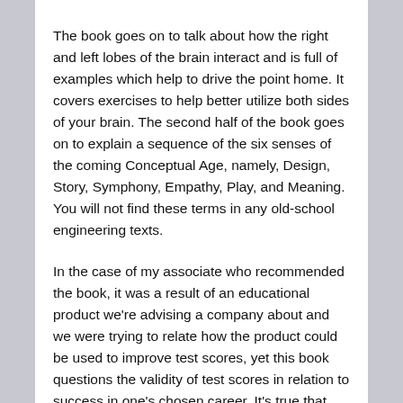The book goes on to talk about how the right and left lobes of the brain interact and is full of examples which help to drive the point home. It covers exercises to help better utilize both sides of your brain. The second half of the book goes on to explain a sequence of the six senses of the coming Conceptual Age, namely, Design, Story, Symphony, Empathy, Play, and Meaning. You will not find these terms in any old-school engineering texts.
In the case of my associate who recommended the book, it was a result of an educational product we're advising a company about and we were trying to relate how the product could be used to improve test scores, yet this book questions the validity of test scores in relation to success in one's chosen career. It's true that they may help you select a career and perhaps get you into a better school, but there are many other 'soft' skills determined by the right brain that may be a bigger determinant of one's career success than shear IQ points or aptitude test scores. These soft skills are not easily measured with